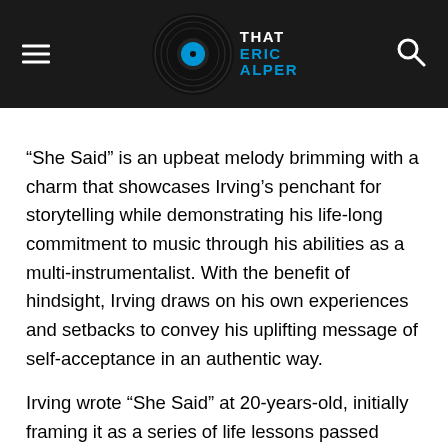That Eric Alper
“She Said” is an upbeat melody brimming with a charm that showcases Irving’s penchant for storytelling while demonstrating his life-long commitment to music through his abilities as a multi-instrumentalist. With the benefit of hindsight, Irving draws on his own experiences and setbacks to convey his uplifting message of self-acceptance in an authentic way.
Irving wrote “She Said” at 20-years-old, initially framing it as a series of life lessons passed down by Irving’s mother. As